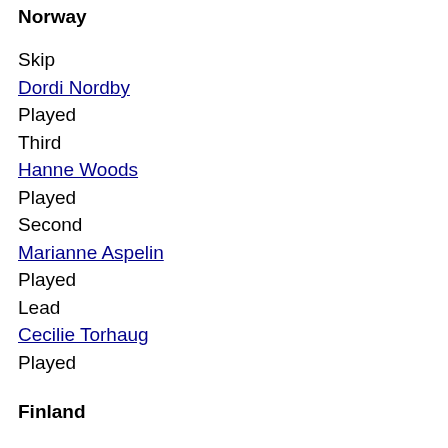Norway
Skip
Dordi Nordby
Played
Third
Hanne Woods
Played
Second
Marianne Aspelin
Played
Lead
Cecilie Torhaug
Played
Finland
Skip
Jaana Jokela
Played
Third
Terhi Aro
Played
Second
Nina Pöllänen